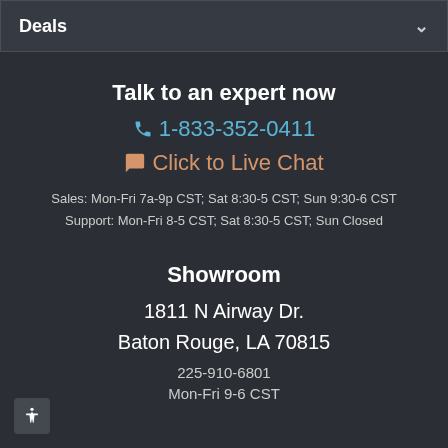Deals
Talk to an expert now
1-833-352-0411
Click to Live Chat
Sales: Mon-Fri 7a-9p CST; Sat 8:30-5 CST; Sun 9:30-6 CST
Support: Mon-Fri 8-5 CST; Sat 8:30-5 CST; Sun Closed
Showroom
1811 N Airway Dr.
Baton Rouge, LA 70815
225-910-6801
Mon-Fri 9-6 CST